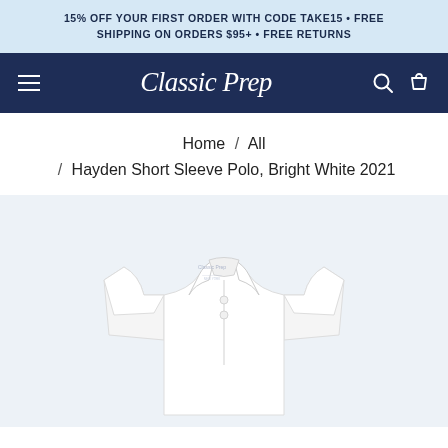15% OFF YOUR FIRST ORDER WITH CODE TAKE15 • FREE SHIPPING ON ORDERS $95+ • FREE RETURNS
Classic Prep
Home / All / Hayden Short Sleeve Polo, Bright White 2021
[Figure (photo): White children's short sleeve polo shirt with Classic Prep label visible at collar, shown on white background]